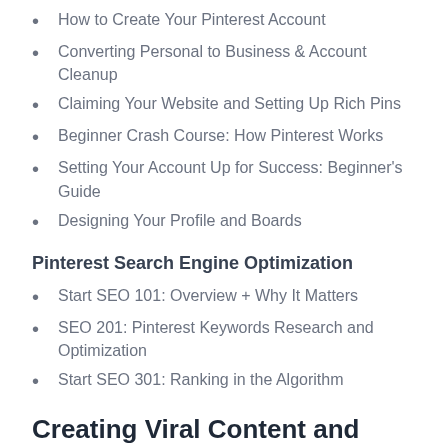How to Create Your Pinterest Account
Converting Personal to Business & Account Cleanup
Claiming Your Website and Setting Up Rich Pins
Beginner Crash Course: How Pinterest Works
Setting Your Account Up for Success: Beginner's Guide
Designing Your Profile and Boards
Pinterest Search Engine Optimization
Start SEO 101: Overview + Why It Matters
SEO 201: Pinterest Keywords Research and Optimization
Start SEO 301: Ranking in the Algorithm
Creating Viral Content and Pins